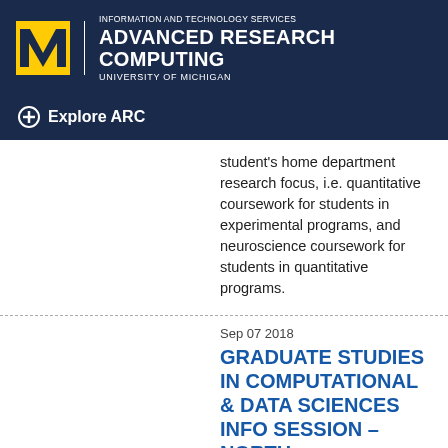[Figure (logo): University of Michigan block M logo in maize/yellow, with Information and Technology Services / Advanced Research Computing / University of Michigan header text in white on dark navy background]
Explore ARC
student's home department research focus, i.e. quantitative coursework for students in experimental programs, and neuroscience coursework for students in quantitative programs.
Sep 07 2018
GRADUATE STUDIES IN COMPUTATIONAL & DATA SCIENCES INFO SESSION – NORTH